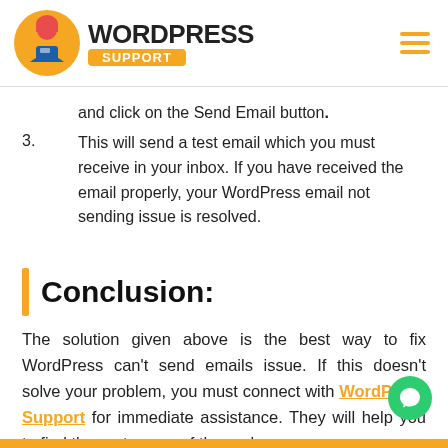WORDPRESS SUPPORT
and click on the Send Email button.
3. This will send a test email which you must receive in your inbox. If you have received the email properly, your WordPress email not sending issue is resolved.
Conclusion:
The solution given above is the best way to fix WordPress can't send emails issue. If this doesn't solve your problem, you must connect with WordPress Support for immediate assistance. They will help you to find the root cause of the problem and fix it in no time.